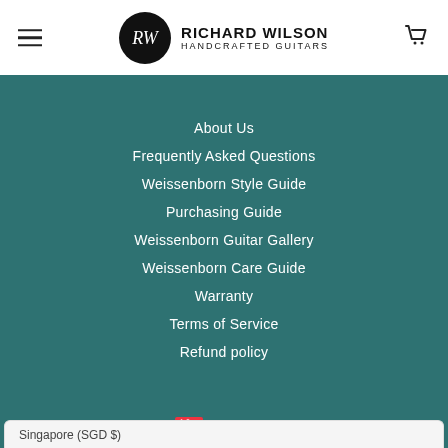Richard Wilson Handcrafted Guitars
About Us
Frequently Asked Questions
Weissenborn Style Guide
Purchasing Guide
Weissenborn Guitar Gallery
Weissenborn Care Guide
Warranty
Terms of Service
Refund policy
SGD $
Singapore (SGD $)